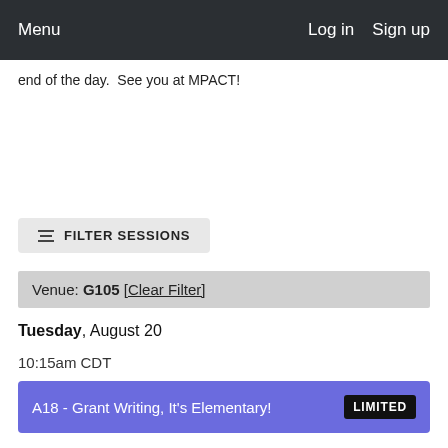Menu   Log in   Sign up
end of the day.  See you at MPACT!
FILTER SESSIONS
Venue: G105 [Clear Filter]
Tuesday, August 20
10:15am CDT
A18 - Grant Writing, It's Elementary!   LIMITED